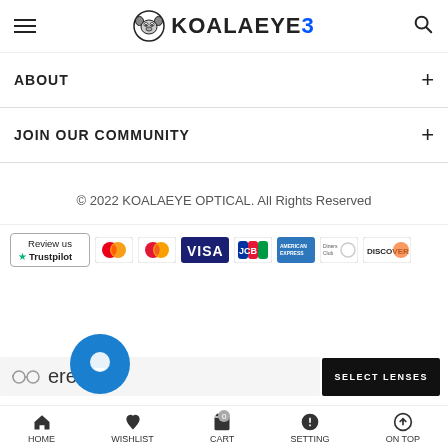KOALAEYE - navigation header with hamburger menu and search icon
ABOUT
JOIN OUR COMMUNITY
© 2022 KOALAEYE OPTICAL. All Rights Reserved
[Figure (logo): Payment method logos: Trustpilot review badge, Mastercard, Mastercard (red/orange), VISA, JCB, American Express, Diners Club, Discover]
HOME | WISHLIST | CART | SETTING | ON TOP
SELECT LENSES
Jeremy